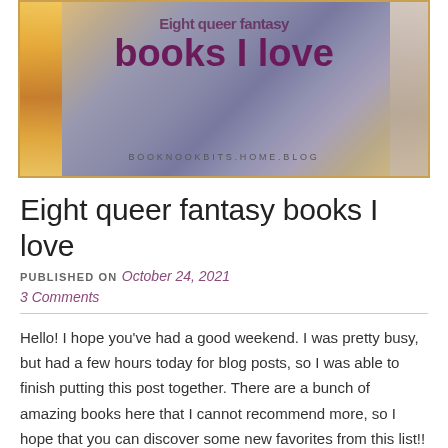[Figure (illustration): Blog post banner image showing books on a shelf with warm orange and purple tones. Large bold purple text reads 'books I love' with partial text above. URL 'BOOKNOOKBITS.HOME.BLOG' shown at bottom center. Gold/orange decorative border on left side.]
Eight queer fantasy books I love
PUBLISHED ON October 24, 2021
3 Comments
Hello! I hope you've had a good weekend. I was pretty busy, but had a few hours today for blog posts, so I was able to finish putting this post together. There are a bunch of amazing books here that I cannot recommend more, so I hope that you can discover some new favorites from this list!!